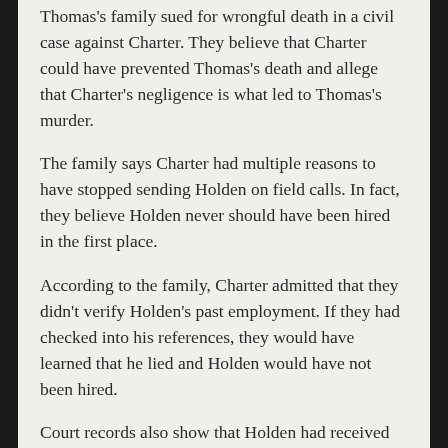Thomas's family sued for wrongful death in a civil case against Charter. They believe that Charter could have prevented Thomas's death and allege that Charter's negligence is what led to Thomas's murder.
The family says Charter had multiple reasons to have stopped sending Holden on field calls. In fact, they believe Holden never should have been hired in the first place.
According to the family, Charter admitted that they didn't verify Holden's past employment. If they had checked into his references, they would have learned that he lied and Holden would have not been hired.
Court records also show that Holden had received multiple disciplinary actions from Charter. The actions were a result of taking pictures of the driver's licenses and credit cards of two elderly female customers. Charter also had records that